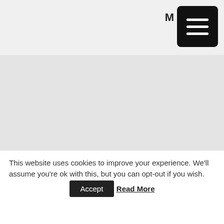M [menu icon]
[Figure (other): Gray banner/hero image area]
MISSIONS, THE PERSECUTED CHURCH ACROSS THE WORLD, WHATS ON
PENTECOSTAL CHURCHES FACING
This website uses cookies to improve your experience. We'll assume you're ok with this, but you can opt-out if you wish.
Accept   Read More